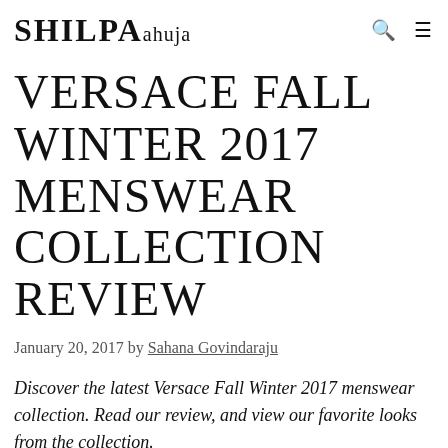SHILPAahuja
VERSACE FALL WINTER 2017 MENSWEAR COLLECTION REVIEW
January 20, 2017 by Sahana Govindaraju
Discover the latest Versace Fall Winter 2017 menswear collection. Read our review, and view our favorite looks from the collection.